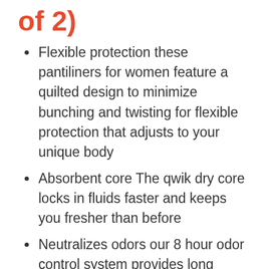of 2)
Flexible protection these pantiliners for women feature a quilted design to minimize bunching and twisting for flexible protection that adjusts to your unique body
Absorbent core The qwik dry core locks in fluids faster and keeps you fresher than before
Neutralizes odors our 8 hour odor control system provides long lasting freshness to give you that extra boost of confidence when you need it